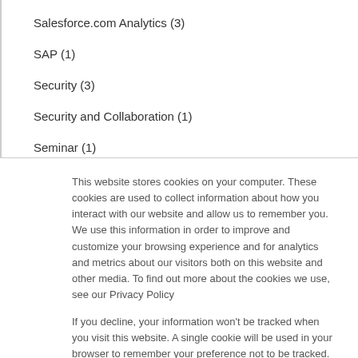Salesforce.com Analytics (3)
SAP (1)
Security (3)
Security and Collaboration (1)
Seminar (1)
This website stores cookies on your computer. These cookies are used to collect information about how you interact with our website and allow us to remember you. We use this information in order to improve and customize your browsing experience and for analytics and metrics about our visitors both on this website and other media. To find out more about the cookies we use, see our Privacy Policy
If you decline, your information won’t be tracked when you visit this website. A single cookie will be used in your browser to remember your preference not to be tracked.